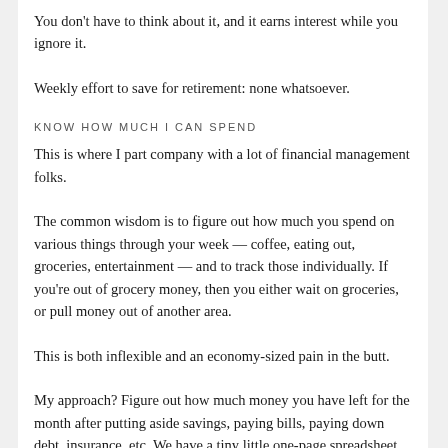You don't have to think about it, and it earns interest while you ignore it.
Weekly effort to save for retirement: none whatsoever.
KNOW HOW MUCH I CAN SPEND
This is where I part company with a lot of financial management folks.
The common wisdom is to figure out how much you spend on various things through your week — coffee, eating out, groceries, entertainment — and to track those individually. If you're out of grocery money, then you either wait on groceries, or pull money out of another area.
This is both inflexible and an economy-sized pain in the butt.
My approach? Figure out how much money you have left for the month after putting aside savings, paying bills, paying down debt, insurance, etc. We have a tiny little one-page spreadsheet we use for this. (If you don't know